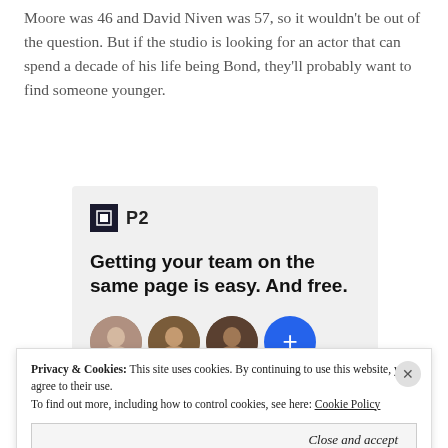Moore was 46 and David Niven was 57, so it wouldn't be out of the question. But if the studio is looking for an actor that can spend a decade of his life being Bond, they'll probably want to find someone younger.
[Figure (infographic): P2 advertisement box with logo, bold headline 'Getting your team on the same page is easy. And free.' and three user avatar circles plus a blue plus button]
Privacy & Cookies: This site uses cookies. By continuing to use this website, you agree to their use. To find out more, including how to control cookies, see here: Cookie Policy
Close and accept